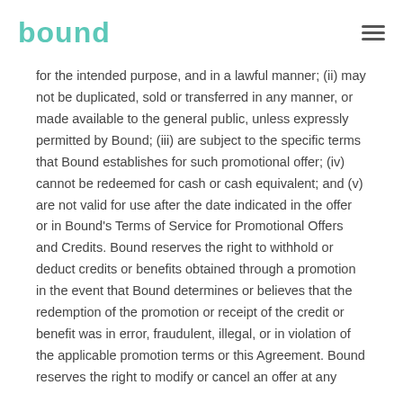bound
for the intended purpose, and in a lawful manner; (ii) may not be duplicated, sold or transferred in any manner, or made available to the general public, unless expressly permitted by Bound; (iii) are subject to the specific terms that Bound establishes for such promotional offer; (iv) cannot be redeemed for cash or cash equivalent; and (v) are not valid for use after the date indicated in the offer or in Bound's Terms of Service for Promotional Offers and Credits. Bound reserves the right to withhold or deduct credits or benefits obtained through a promotion in the event that Bound determines or believes that the redemption of the promotion or receipt of the credit or benefit was in error, fraudulent, illegal, or in violation of the applicable promotion terms or this Agreement. Bound reserves the right to modify or cancel an offer at any